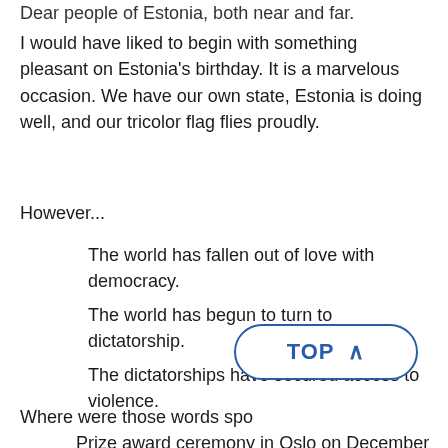Dear people of Estonia, both near and far.
I would have liked to begin with something pleasant on Estonia's birthday. It is a marvelous occasion. We have our own state, Estonia is doing well, and our tricolor flag flies proudly.
However...
The world has fallen out of love with democracy.
The world has begun to turn to dictatorship.
The dictatorships have secured access to violence.
Where were those words spoken? At the Nobel Peace Prize award ceremony in Oslo on December 10 of last year.